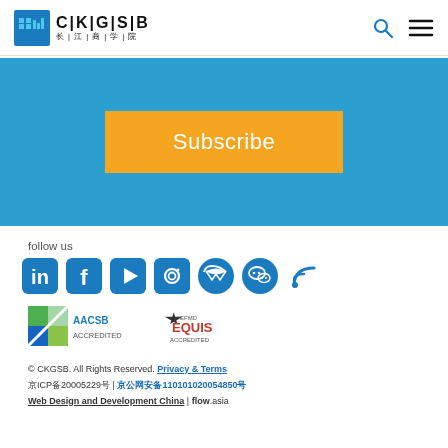CKGSB 长江商学院
[Figure (screenshot): Blue banner with orange Subscribe button in center]
follow us
[Figure (infographic): Social media icons: LinkedIn, Facebook, YouTube, Instagram, Twitter, WeChat, RSS — all in blue]
[Figure (logo): AACSB Accredited logo and EFMD EQUIS Accredited logo]
© CKGSB. All Rights Reserved. Privacy & Terms | 京ICP备20005229号 | 京公网安备110101020054850号 | Web Design and Development China | flow.asia